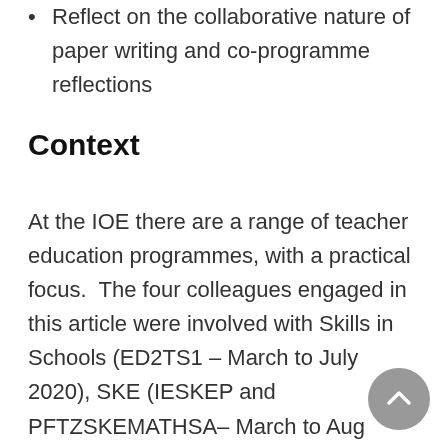Reflect on the collaborative nature of paper writing and co-programme reflections
Context
At the IOE there are a range of teacher education programmes, with a practical focus.  The four colleagues engaged in this article were involved with Skills in Schools (ED2TS1 – March to July 2020), SKE (IESKEP and PFTZSKEMATHSA– March to Aug 2020) and PGCE Secondary Science (GFSTSCIENCE – September 2020 to June 2021).  These programmes all require students to work in schools and engage in a science laboratory (if science focused).  As COVID hit in March